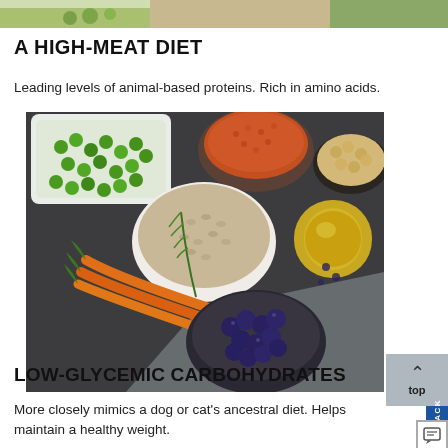[Figure (photo): Partial top photo showing green vegetables and food items, cropped at page top]
A HIGH-MEAT DIET
Leading levels of animal-based proteins. Rich in amino acids.
[Figure (photo): Overhead flat-lay photo on dark stone surface showing bowls of green peas, red lentils, chickpeas, buckwheat/grains, a glass jar of olive oil, carrots, rosemary sprigs, and a bowl of blueberries on a grey textured cloth]
LOW-GLYCEMIC CARBOHYDRATES
More closely mimics a dog or cat's ancestral diet. Helps maintain a healthy weight.